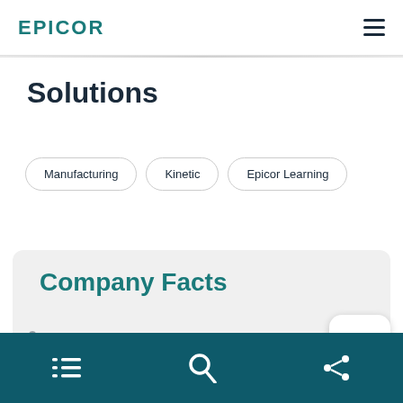epicor
Solutions
Manufacturing
Kinetic
Epicor Learning
Company Facts
Navigation toolbar with list, search, and share icons